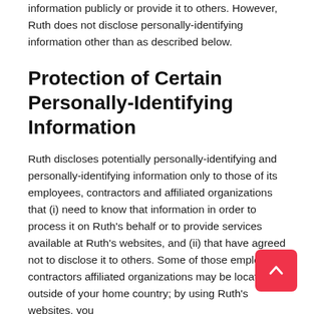information publicly or provide it to others. However, Ruth does not disclose personally-identifying information other than as described below.
Protection of Certain Personally-Identifying Information
Ruth discloses potentially personally-identifying and personally-identifying information only to those of its employees, contractors and affiliated organizations that (i) need to know that information in order to process it on Ruth's behalf or to provide services available at Ruth's websites, and (ii) that have agreed not to disclose it to others. Some of those employees, contractors affiliated organizations may be located outside of your home country; by using Ruth's websites, you